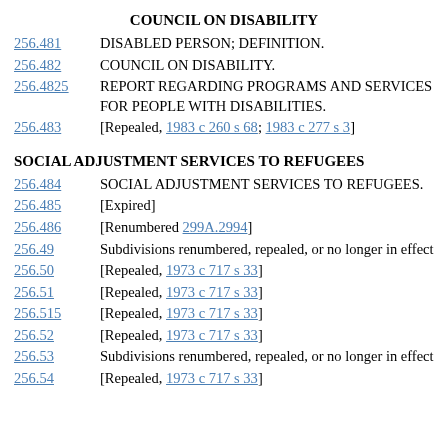COUNCIL ON DISABILITY
256.481 DISABLED PERSON; DEFINITION.
256.482 COUNCIL ON DISABILITY.
256.4825 REPORT REGARDING PROGRAMS AND SERVICES FOR PEOPLE WITH DISABILITIES.
256.483 [Repealed, 1983 c 260 s 68; 1983 c 277 s 3]
SOCIAL ADJUSTMENT SERVICES TO REFUGEES
256.484 SOCIAL ADJUSTMENT SERVICES TO REFUGEES.
256.485 [Expired]
256.486 [Renumbered 299A.2994]
256.49 Subdivisions renumbered, repealed, or no longer in effect
256.50 [Repealed, 1973 c 717 s 33]
256.51 [Repealed, 1973 c 717 s 33]
256.515 [Repealed, 1973 c 717 s 33]
256.52 [Repealed, 1973 c 717 s 33]
256.53 Subdivisions renumbered, repealed, or no longer in effect
256.54 [Repealed, 1973 c 717 s 33]